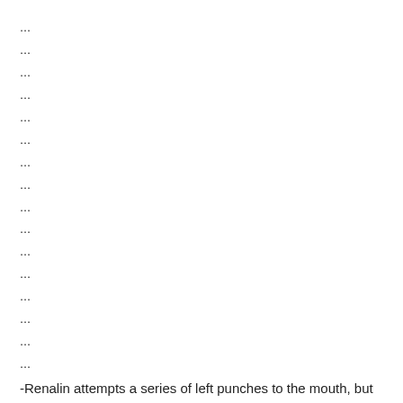...
...
...
...
...
...
...
...
...
...
...
...
...
...
...
...
-Renalin attempts a series of left punches to the mouth, but Christopher escapes.